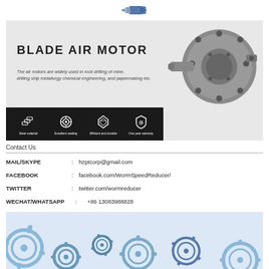[Figure (photo): Small cylindrical air motor / DC motor shown from front]
[Figure (photo): Blade Air Motor product hero banner with air motor image on right and feature icons at bottom]
BLADE AIR MOTOR
The air motors are widely used in rock drilling of mine, drilling ship metallurgy chemical engineering, and papermaking etc.
Contact Us
MAIL/SKYPE   :   hzptcorp@gmail.com
FACEBOOK   :   facebook.com/WormSpeedReducer/
TWITTER   :   twitter.com/wormreducer
WECHAT/WHATSAPP   :   +86 13083988828
[Figure (photo): Background image of blue mechanical gear wheels]